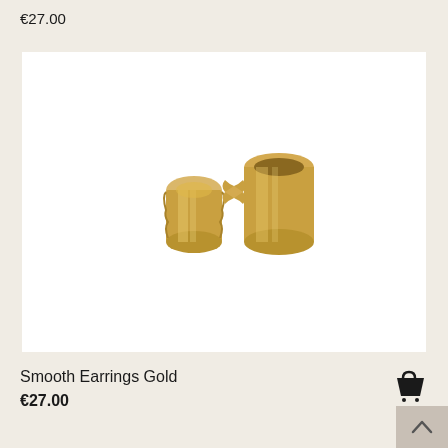€27.00
[Figure (photo): Two gold smooth earrings — one curved band and one cylindrical cuff with a small butterfly clasp — photographed on a white background.]
Smooth Earrings Gold
€27.00